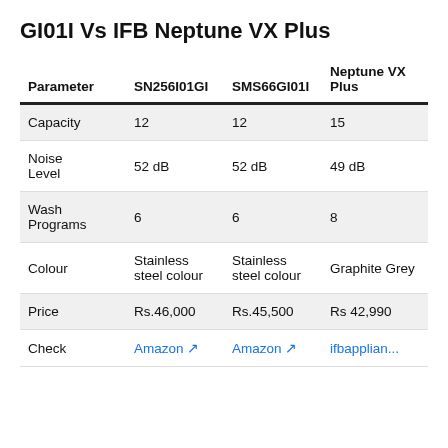GI01I Vs IFB Neptune VX Plus
| Parameter | SN256I01GI | SMS66GI01I | Neptune VX Plus |
| --- | --- | --- | --- |
| Capacity | 12 | 12 | 15 |
| Noise Level | 52 dB | 52 dB | 49 dB |
| Wash Programs | 6 | 6 | 8 |
| Colour | Stainless steel colour | Stainless steel colour | Graphite Grey |
| Price | Rs.46,000 | Rs.45,500 | Rs 42,990 |
| Check | Amazon ↗ | Amazon ↗ | ifbapplian... |